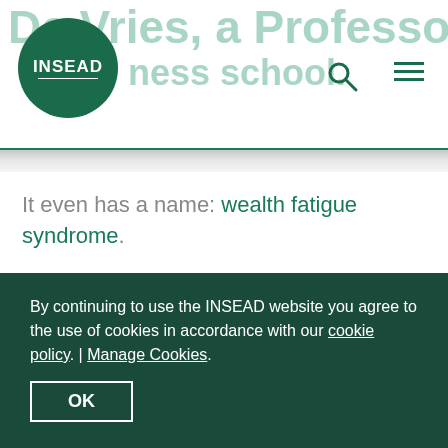INSEAD business school.
It even has a name: wealth fatigue syndrome.
So What Defines Happiness?
The Greek philosopher Aristotle explained that happiness is a combination of immediate pleasures and a life well-lived. In other words, doing a good job
By continuing to use the INSEAD website you agree to the use of cookies in accordance with our cookie policy. | Manage Cookies.
OK